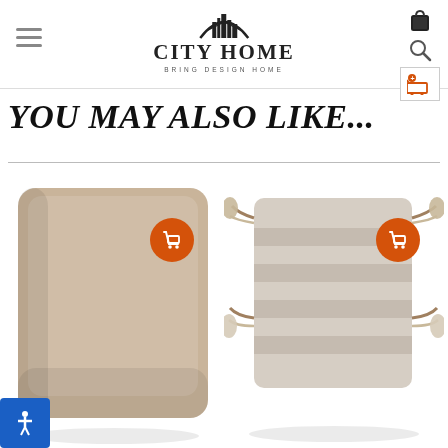City Home — Bring Design Home
YOU MAY ALSO LIKE...
[Figure (photo): Beige/tan solid velvet square throw pillow with orange add-to-cart shopping bag button overlay]
[Figure (photo): Light gray striped throw pillow with cream and tan tassel fringe on all four sides, with orange add-to-cart shopping bag button overlay]